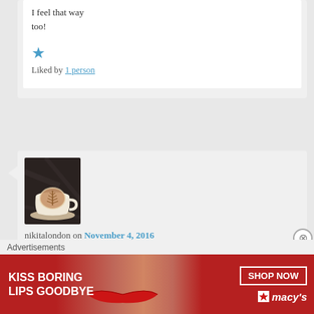I feel that way too!
Liked by 1 person
[Figure (photo): Overhead photo of a latte in a white cup with latte art on a dark marble surface]
nikitalondon on November 4, 2016 at 7:55 pm said:
great Idea Lauren.... will certainly miss your blog. Good luck
Advertisements
[Figure (photo): Macy's advertisement banner: KISS BORING LIPS GOODBYE with a woman's face featuring red lipstick, SHOP NOW button and Macy's star logo]